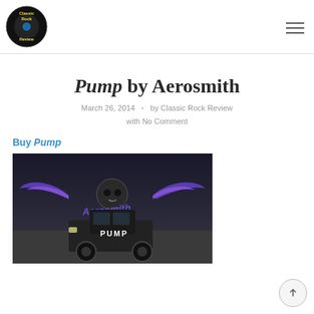Classic Rock Review
Pump by Aerosmith
March 26, 2014 · by Classic Rock Review with No Comment
Buy Pump
[Figure (photo): Aerosmith Pump album cover — dark background with Aerosmith winged logo and an old black pickup truck with PUMP text visible]